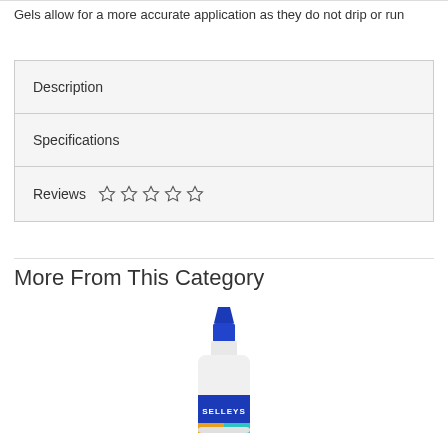Gels allow for a more accurate application as they do not drip or run
Description
Specifications
Reviews ☆☆☆☆☆
More From This Category
[Figure (photo): Selleys glue bottle product image with blue cap and blue label]